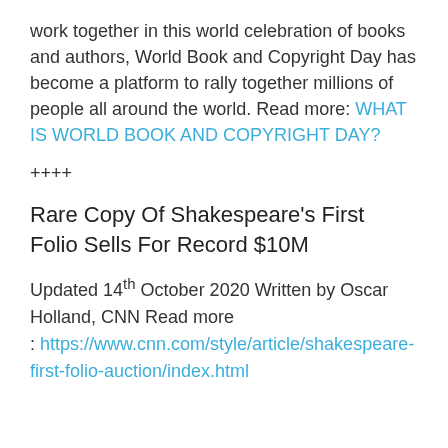work together in this world celebration of books and authors, World Book and Copyright Day has become a platform to rally together millions of people all around the world. Read more: WHAT IS WORLD BOOK AND COPYRIGHT DAY?
++++
Rare Copy Of Shakespeare's First Folio Sells For Record $10M
Updated 14th October 2020 Written by Oscar Holland, CNN Read more : https://www.cnn.com/style/article/shakespeare-first-folio-auction/index.html